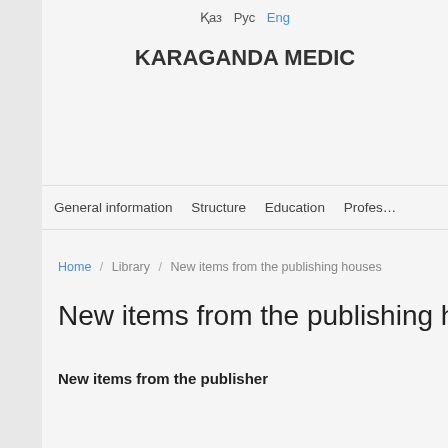Қаз   Рус   Eng
KARAGANDA MEDIC
General information   Structure   Education   Profes
Home / Library / New items from the publishing houses
New items from the publishing h
New items from the publisher